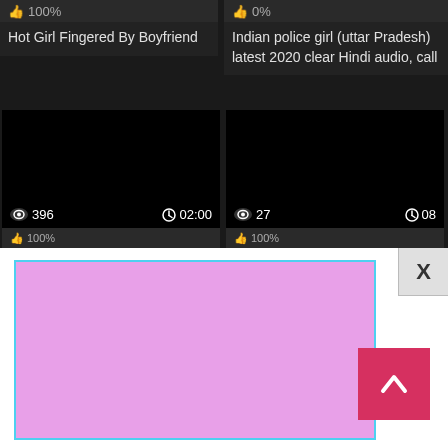👍 100%
👍 0%
Hot Girl Fingered By Boyfriend
Indian police girl (uttar Pradesh) latest 2020 clear Hindi audio, call
[Figure (screenshot): Black video thumbnail with eye icon showing 396 views and clock icon showing 02:00 duration]
[Figure (screenshot): Black video thumbnail with eye icon showing 27 views and clock icon showing 08:xx duration]
👍 100%
👍 100%
[Figure (other): Pink/lavender advertisement box with cyan border overlay popup]
X
[Figure (other): Scroll-to-top button — red/pink square with white chevron up arrow]